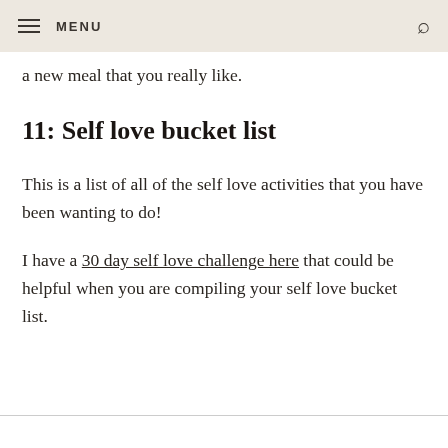MENU
a new meal that you really like.
11: Self love bucket list
This is a list of all of the self love activities that you have been wanting to do!
I have a 30 day self love challenge here that could be helpful when you are compiling your self love bucket list.